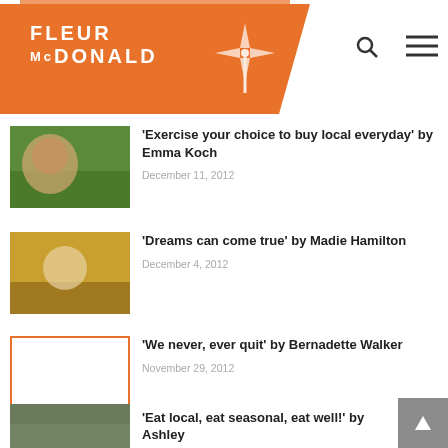Fleur McDonald
'Exercise your choice to buy local everyday' by Emma Koch
December 11, 2012
'Dreams can come true' by Madie Hamilton
December 4, 2012
'We never, ever quit' by Bernadette Walker
November 29, 2012
'Eat local, eat seasonal, eat well!' by Ashley